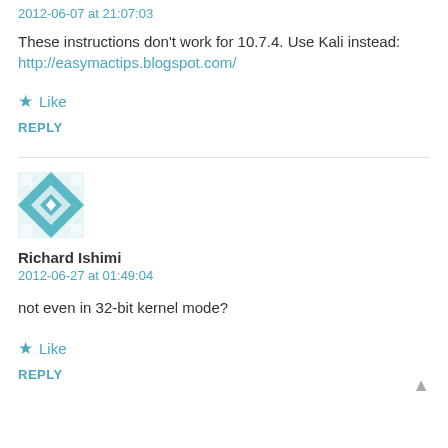2012-06-07 at 21:07:03
These instructions don't work for 10.7.4. Use Kali instead: http://easymactips.blogspot.com/
★ Like
REPLY
[Figure (illustration): User avatar: teal and white geometric quilt-pattern square icon for Richard Ishimi]
Richard Ishimi
2012-06-27 at 01:49:04
not even in 32-bit kernel mode?
★ Like
REPLY